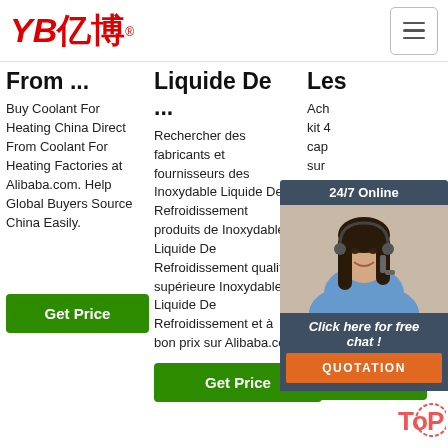[Figure (logo): YB亿博 red logo with registered trademark symbol]
[Figure (other): Hamburger menu button top right]
From ...
Buy Coolant For Heating China Direct From Coolant For Heating Factories at Alibaba.com. Help Global Buyers Source China Easily.
Liquide De ...
Rechercher des fabricants et fournisseurs des Inoxydable Liquide De Refroidissement produits de Inoxydable Liquide De Refroidissement qualité supérieure Inoxydable Liquide De Refroidissement et à bon prix sur Alibaba.com
Les
Ach kit 4 cap sur pou per mot ces 43m tout mac rabais incroyables.
[Figure (photo): Chat agent woman with headset smiling, labeled 24/7 Online]
Click here for free chat !
QUOTATION